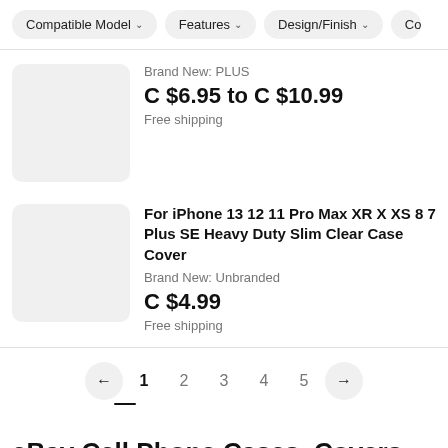Compatible Model  ∨   Features  ∨   Design/Finish  ∨   Co
Brand New: PLUS
C $6.95 to C $10.99
Free shipping
For iPhone 13 12 11 Pro Max XR X XS 8 7 Plus SE Heavy Duty Slim Clear Case Cover
Brand New: Unbranded
C $4.99
Free shipping
← 1 2 3 4 5 →
eBay Cell Phone Cases, Covers and Skins